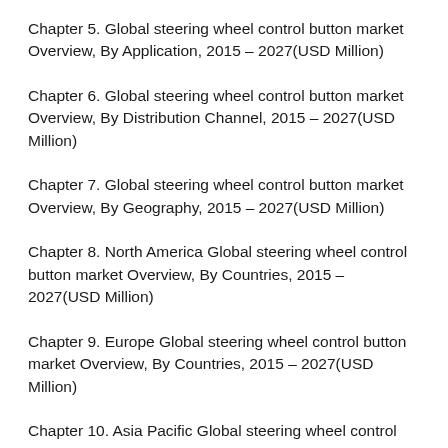Chapter 5. Global steering wheel control button market Overview, By Application, 2015 – 2027(USD Million)
Chapter 6. Global steering wheel control button market Overview, By Distribution Channel, 2015 – 2027(USD Million)
Chapter 7. Global steering wheel control button market Overview, By Geography, 2015 – 2027(USD Million)
Chapter 8. North America Global steering wheel control button market Overview, By Countries, 2015 – 2027(USD Million)
Chapter 9. Europe Global steering wheel control button market Overview, By Countries, 2015 – 2027(USD Million)
Chapter 10. Asia Pacific Global steering wheel control button market Overview, By Countries, 2015 – 2027 (USD Million)